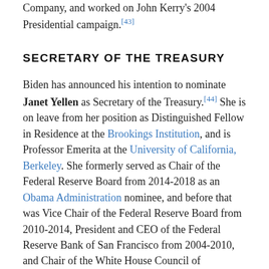Company, and worked on John Kerry's 2004 Presidential campaign.[43]
SECRETARY OF THE TREASURY
Biden has announced his intention to nominate Janet Yellen as Secretary of the Treasury.[44] She is on leave from her position as Distinguished Fellow in Residence at the Brookings Institution, and is Professor Emerita at the University of California, Berkeley. She formerly served as Chair of the Federal Reserve Board from 2014-2018 as an Obama Administration nominee, and before that was Vice Chair of the Federal Reserve Board from 2010-2014, President and CEO of the Federal Reserve Bank of San Francisco from 2004-2010, and Chair of the White House Council of Economic Advisors from 1997-1999 during the Clinton Administration. She is President of the American Economic Association, serves on the Advisory Boards of the Bloomberg New Economy Forum, the Committee for a Responsible Federal Budget, and the Fix the